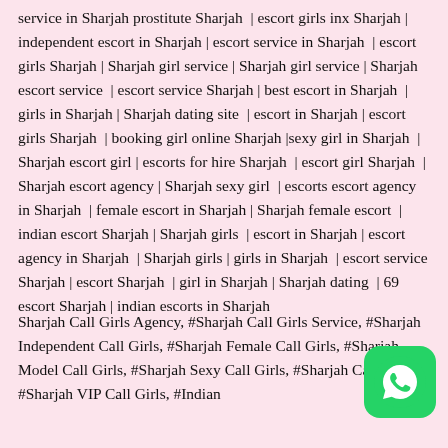service in Sharjah prostitute Sharjah | escort girls inx Sharjah | independent escort in Sharjah | escort service in Sharjah | escort girls Sharjah | Sharjah girl service | Sharjah girl service | Sharjah escort service | escort service Sharjah | best escort in Sharjah | girls in Sharjah | Sharjah dating site | escort in Sharjah | escort girls Sharjah | booking girl online Sharjah |sexy girl in Sharjah | Sharjah escort girl | escorts for hire Sharjah | escort girl Sharjah | Sharjah escort agency | Sharjah sexy girl | escorts escort agency in Sharjah | female escort in Sharjah | Sharjah female escort | indian escort Sharjah | Sharjah girls | escort in Sharjah | escort agency in Sharjah | Sharjah girls | girls in Sharjah | escort service Sharjah | escort Sharjah | girl in Sharjah | Sharjah dating | 69 escort Sharjah | indian escorts in Sharjah
Sharjah Call Girls Agency, #Sharjah Call Girls Service, #Sharjah Independent Call Girls, #Sharjah Female Call Girls, #Sharjah Model Call Girls, #Sharjah Sexy Call Girls, #Sharjah Call Girl, #Sharjah VIP Call Girls, #Indian